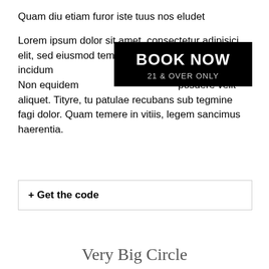Quam diu etiam furor iste tuus nos eludet
Lorem ipsum dolor sit amet, consectetur adipisici elit, sed eiusmod tempor incidum magna aliqua. Non equidem invideo, miror magis posuere velit aliquet. Tityre, tu patulae recubans sub tegmine fagi dolor. Quam temere in vitiis, legem sancimus haerentia.
[Figure (other): Black rectangle button overlay with white bold text 'BOOK NOW' and subtext '21 & OVER ONLY']
+ Get the code
Very Big Circle